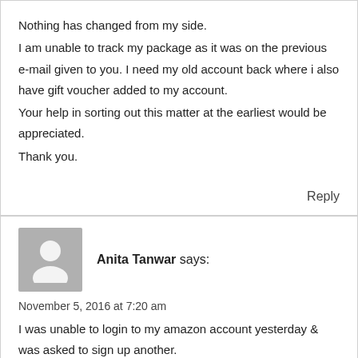Nothing has changed from my side.
I am unable to track my package as it was on the previous e-mail given to you. I need my old account back where i also have gift voucher added to my account.
Your help in sorting out this matter at the earliest would be appreciated.
Thank you.
Reply
Anita Tanwar says:
November 5, 2016 at 7:20 am
I was unable to login to my amazon account yesterday & was asked to sign up another.
On doing so, now i cannot login to my old account from